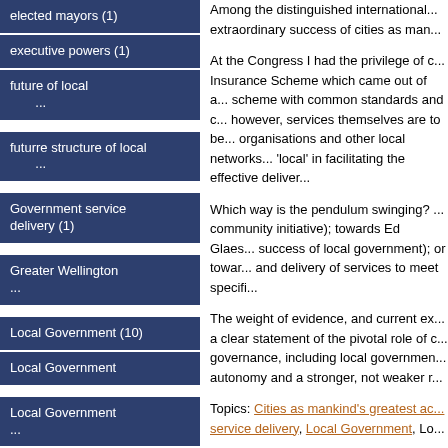elected mayors (1)
executive powers (1)
future of local ...
futurre structure of local ...
Government service delivery (1)
Greater Wellington ...
Local Government (10)
Local Government
Local Government ...
Local Government as
Among the distinguished international... extraordinary success of cities as man...
At the Congress I had the privilege of c... Insurance Scheme which came out of a... scheme with common standards and c... however, services themselves are to be... organisations and other local networks... 'local' in facilitating the effective deliver...
Which way is the pendulum swinging? ... community initiative); towards Ed Glaes... success of local government); or towar... and delivery of services to meet specifi...
The weight of evidence, and current ex... a clear statement of the pivotal role of c... governance, including local governmen... autonomy and a stronger, not weaker r...
Topics: Cities as mankind's greatest ac... service delivery, Local Government, Lo...